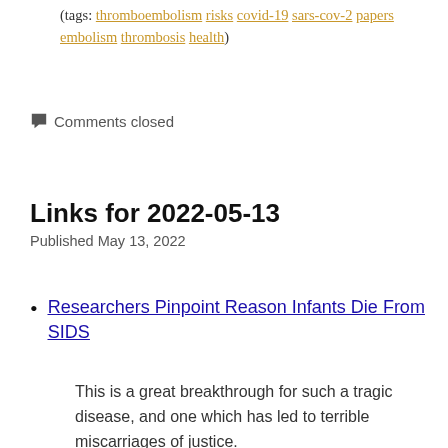(tags: thromboembolism risks covid-19 sars-cov-2 papers embolism thrombosis health)
Comments closed
Links for 2022-05-13
Published May 13, 2022
Researchers Pinpoint Reason Infants Die From SIDS
This is a great breakthrough for such a tragic disease, and one which has led to terrible miscarriages of justice.